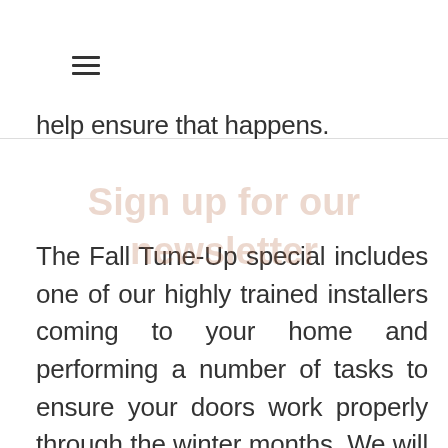≡
help ensure that happens.
[Figure (other): Newsletter watermark overlay text reading 'Sign up for our newsletter']
The Fall Tune-Up special includes one of our highly trained installers coming to your home and performing a number of tasks to ensure your doors work properly through the winter months. We will take a look at your tension and springs, check safety features, lubricate parts and check rollers all to ensure the door is working properly.